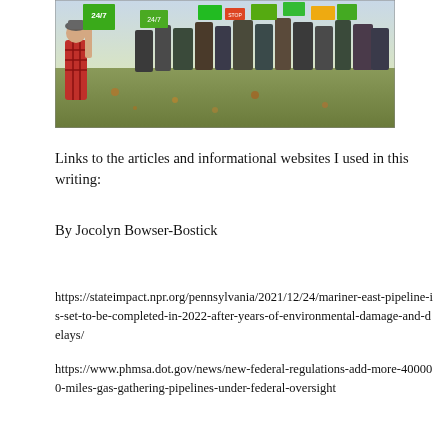[Figure (photo): Outdoor protest scene with a crowd of people holding green and colorful signs, including one that reads '24/7'. A child in a red plaid shirt is visible in the foreground holding a sign.]
Links to the articles and informational websites I used in this writing:
By Jocolyn Bowser-Bostick
https://stateimpact.npr.org/pennsylvania/2021/12/24/mariner-east-pipeline-is-set-to-be-completed-in-2022-after-years-of-environmental-damage-and-delays/
https://www.phmsa.dot.gov/news/new-federal-regulations-add-more-400000-miles-gas-gathering-pipelines-under-federal-oversight
https://stateimpact.npr.org/pennsylvania/...